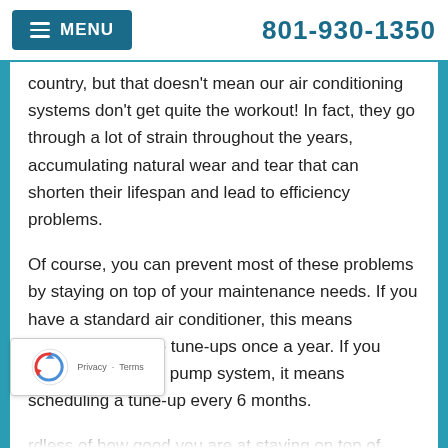MENU  801-930-1350
country, but that doesn't mean our air conditioning systems don't get quite the workout! In fact, they go through a lot of strain throughout the years, accumulating natural wear and tear that can shorten their lifespan and lead to efficiency problems.
Of course, you can prevent most of these problems by staying on top of your maintenance needs. If you have a standard air conditioner, this means scheduling routine tune-ups once a year. If you have a 2-in-1 heat pump system, it means scheduling a tune-up every 6 months.
rdless of how good you are at staying on top of ntenance, however, it's also important that you be aware of the signs that something is wrong with your